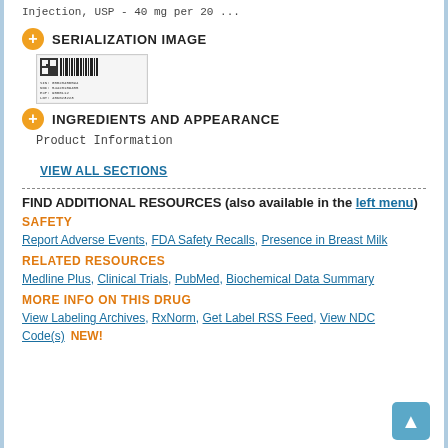Injection, USP - 40 mg per 20 ...
SERIALIZATION IMAGE
[Figure (other): Serialization barcode/QR image for drug label]
INGREDIENTS AND APPEARANCE
Product Information
VIEW ALL SECTIONS
FIND ADDITIONAL RESOURCES (also available in the left menu)
SAFETY
Report Adverse Events, FDA Safety Recalls, Presence in Breast Milk
RELATED RESOURCES
Medline Plus, Clinical Trials, PubMed, Biochemical Data Summary
MORE INFO ON THIS DRUG
View Labeling Archives, RxNorm, Get Label RSS Feed, View NDC Code(s)  NEW!